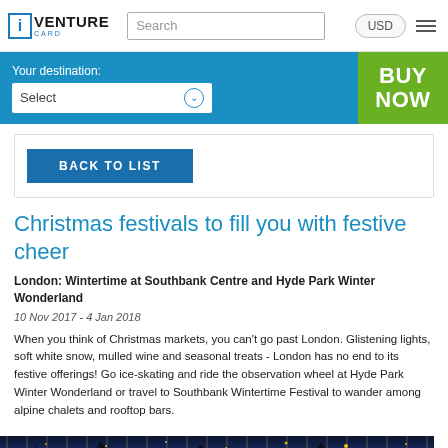iVenture Card — Search — USD — Menu
Your destination: Select
BUY NOW
BACK TO LIST
Christmas festivals to fill you with festive cheer
London: Wintertime at Southbank Centre and Hyde Park Winter Wonderland
10 Nov 2017 - 4 Jan 2018
When you think of Christmas markets, you can't go past London. Glistening lights, soft white snow, mulled wine and seasonal treats - London has no end to its festive offerings! Go ice-skating and ride the observation wheel at Hyde Park Winter Wonderland or travel to Southbank Wintertime Festival to wander among alpine chalets and rooftop bars.
[Figure (photo): Night-time festive scene with blue and gold lighting, likely at a Christmas market or festival]